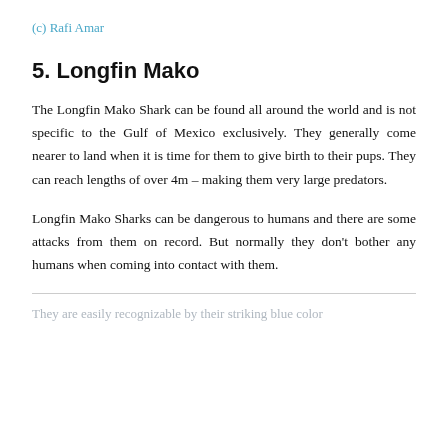(c) Rafi Amar
5. Longfin Mako
The Longfin Mako Shark can be found all around the world and is not specific to the Gulf of Mexico exclusively. They generally come nearer to land when it is time for them to give birth to their pups. They can reach lengths of over 4m – making them very large predators.
Longfin Mako Sharks can be dangerous to humans and there are some attacks from them on record. But normally they don't bother any humans when coming into contact with them.
They are easily recognizable by their striking blue color